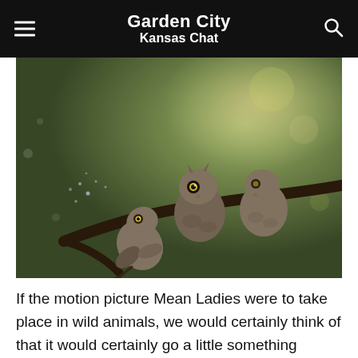Garden City Kansas Chat
[Figure (photo): Three small owls on a branch; two perched upright and one dangling or hanging off the branch, set against a blurred green-brown bokeh background with light flares.]
If the motion picture Mean Ladies were to take place in wild animals, we would certainly think of that it would certainly go a little something similar to this. These owls were